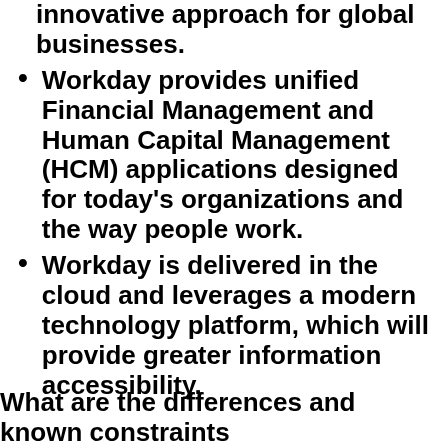innovative approach for global businesses.
Workday provides unified Financial Management and Human Capital Management (HCM) applications designed for today's organizations and the way people work.
Workday is delivered in the cloud and leverages a modern technology platform, which will provide greater information accessibility.
What are the differences and known constraints